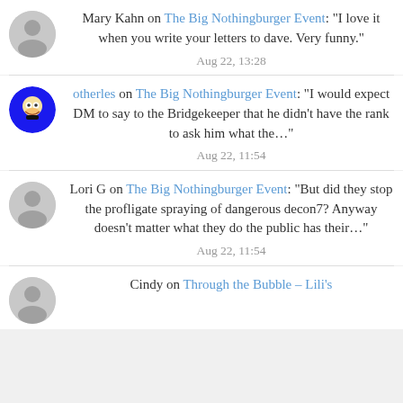Mary Kahn on The Big Nothingburger Event: “I love it when you write your letters to dave. Very funny.” Aug 22, 13:28
otherles on The Big Nothingburger Event: “I would expect DM to say to the Bridgekeeper that he didn’t have the rank to ask him what the…” Aug 22, 11:54
Lori G on The Big Nothingburger Event: “But did they stop the profligate spraying of dangerous decon7? Anyway doesn’t matter what they do the public has their…” Aug 22, 11:54
Cindy on Through the Bubble – Lili’s